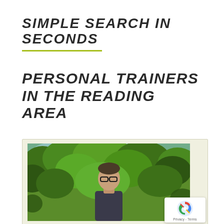SIMPLE SEARCH IN SECONDS
PERSONAL TRAINERS IN THE READING AREA
[Figure (photo): Photo of a person wearing glasses standing outdoors in front of green leafy trees, shown in a card with light cream background. A reCAPTCHA Privacy-Terms badge is visible in the bottom right corner.]